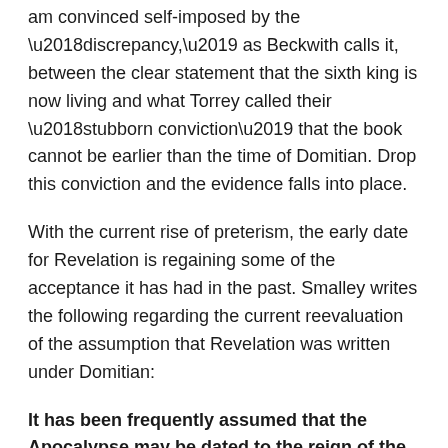am convinced self-imposed by the ‘discrepancy,’ as Beckwith calls it, between the clear statement that the sixth king is now living and what Torrey called their ‘stubborn conviction’ that the book cannot be earlier than the time of Domitian. Drop this conviction and the evidence falls into place.
With the current rise of preterism, the early date for Revelation is regaining some of the acceptance it has had in the past. Smalley writes the following regarding the current reevaluation of the assumption that Revelation was written under Domitian:
It has been frequently assumed that the Apocalypse may be dated to the reign of the Emperor Domitian, the last representative of